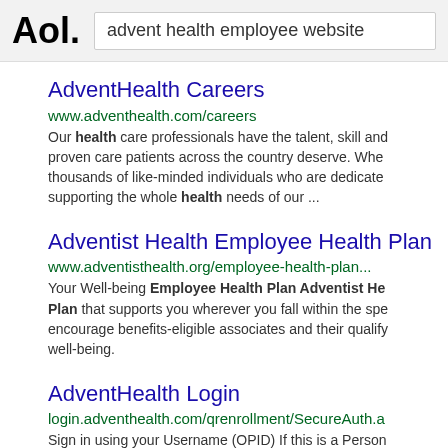Aol. | advent health employee website
AdventHealth Careers
www.adventhealth.com/careers
Our health care professionals have the talent, skill and proven care patients across the country deserve. Whe thousands of like-minded individuals who are dedicated supporting the whole health needs of our ...
Adventist Health Employee Health Plan
www.adventisthealth.org/employee-health-plan...
Your Well-being Employee Health Plan Adventist He Plan that supports you wherever you fall within the spe encourage benefits-eligible associates and their qualify well-being.
AdventHealth Login
login.adventhealth.com/qrenrollment/SecureAuth.a
Sign in using your Username (OPID) If this is a Person 2-Factor on future logins
AdventHealth Login